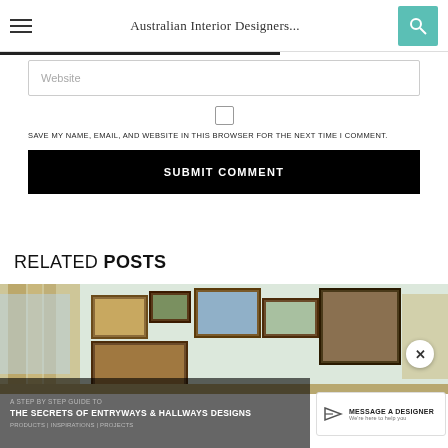Australian Interior Designers...
Website
SAVE MY NAME, EMAIL, AND WEBSITE IN THIS BROWSER FOR THE NEXT TIME I COMMENT.
SUBMIT COMMENT
RELATED POSTS
[Figure (photo): Interior room with framed artwork on wall, curtains, gallery wall arrangement]
A STEP BY STEP GUIDE TO THE SECRETS OF ENTRYWAYS & HALLWAYS DESIGNS Products | Inspirations | Projects
MESSAGE A DESIGNER We're here to help you